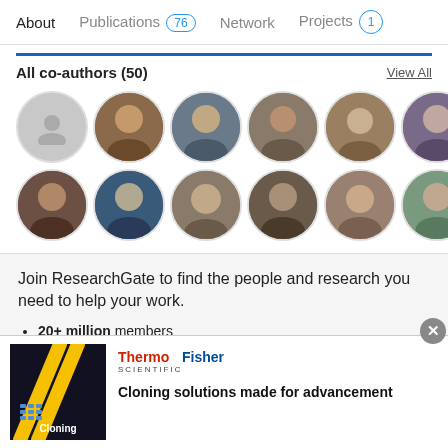About  Publications 76  Network  Projects 1
All co-authors (50)
[Figure (photo): Grid of circular co-author profile photos (16 avatars)]
View All
Join ResearchGate to find the people and research you need to help your work.
20+ million members
135+ million publications
Advertisement
[Figure (photo): ThermoFisher Scientific advertisement - Cloning solutions made for advancement]